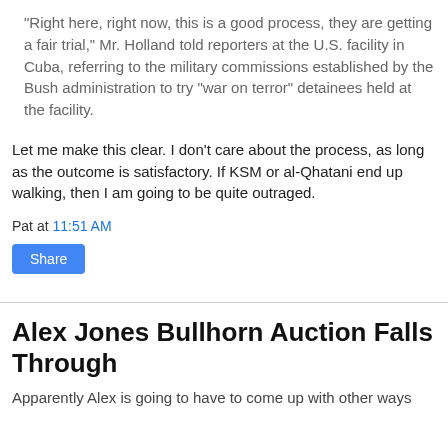"Right here, right now, this is a good process, they are getting a fair trial," Mr. Holland told reporters at the U.S. facility in Cuba, referring to the military commissions established by the Bush administration to try "war on terror" detainees held at the facility.
Let me make this clear. I don't care about the process, as long as the outcome is satisfactory. If KSM or al-Qhatani end up walking, then I am going to be quite outraged.
Pat at 11:51 AM
Share
Alex Jones Bullhorn Auction Falls Through
Apparently Alex is going to have to come up with other ways